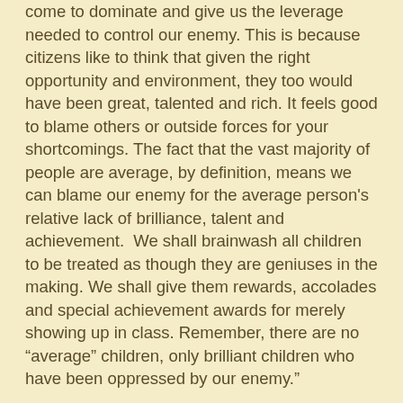come to dominate and give us the leverage needed to control our enemy. This is because citizens like to think that given the right opportunity and environment, they too would have been great, talented and rich. It feels good to blame others or outside forces for your shortcomings. The fact that the vast majority of people are average, by definition, means we can blame our enemy for the average person's relative lack of brilliance, talent and achievement.  We shall brainwash all children to be treated as though they are geniuses in the making. We shall give them rewards, accolades and special achievement awards for merely showing up in class. Remember, there are no “average” children, only brilliant children who have been oppressed by our enemy.”
Guest Post
At the outset author Dr. Napoleon wishes to disabuse the reader of the understandable misunderstanding that he is a political writer.  Nor is he a political ideologue or partisan.  Playbook is a journalistic effort not a political tome.  As an expert on mind control strategies Dr. Napoleon came to